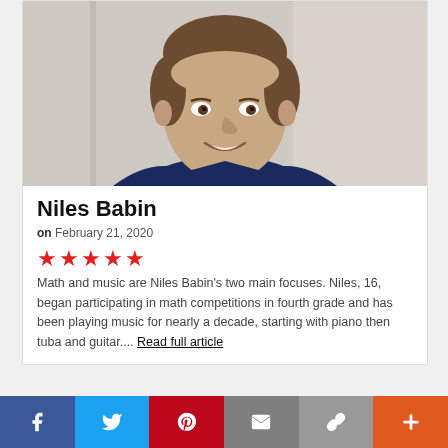[Figure (photo): Headshot of a young male (Niles Babin), smiling, wearing a dark navy blue polo shirt, standing in front of a white door. Light-colored background.]
Niles Babin
on February 21, 2020
★★★★★
Math and music are Niles Babin's two main focuses. Niles, 16, began participating in math competitions in fourth grade and has been playing music for nearly a decade, starting with piano then tuba and guitar.... Read full article
Facebook Twitter Pinterest Mail Link Plus